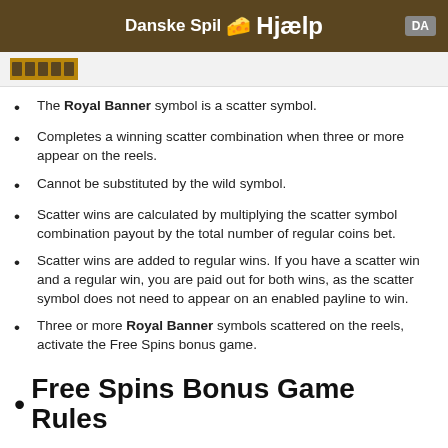Danske Spil 🧀 Hjælp
The Royal Banner symbol is a scatter symbol.
Completes a winning scatter combination when three or more appear on the reels.
Cannot be substituted by the wild symbol.
Scatter wins are calculated by multiplying the scatter symbol combination payout by the total number of regular coins bet.
Scatter wins are added to regular wins. If you have a scatter win and a regular win, you are paid out for both wins, as the scatter symbol does not need to appear on an enabled payline to win.
Three or more Royal Banner symbols scattered on the reels, activate the Free Spins bonus game.
Free Spins Bonus Game Rules